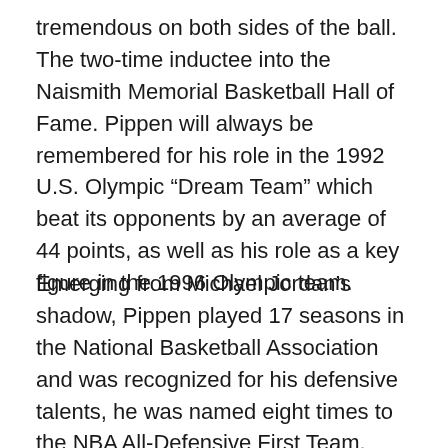tremendous on both sides of the ball. The two-time inductee into the Naismith Memorial Basketball Hall of Fame. Pippen will always be remembered for his role in the 1992 U.S. Olympic “Dream Team” which beat its opponents by an average of 44 points, as well as his role as a key figure in the 1996 Olympic team.
Emerging from Michael Jordan’s shadow, Pippen played 17 seasons in the National Basketball Association and was recognized for his defensive talents, he was named eight times to the NBA All-Defensive First Team. Pippen won gold medals at the 1992 and 1996 Olympic Games, the first coming as a member of the original Dream Team. He also